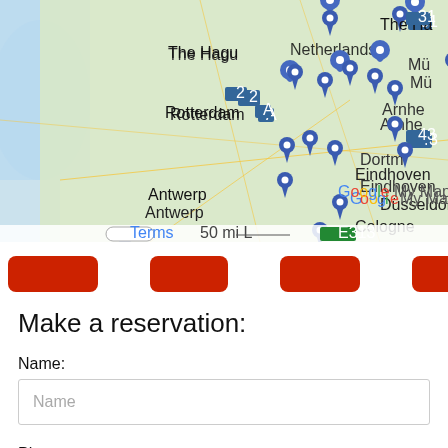[Figure (map): Google My Maps showing the Netherlands and surrounding areas (Belgium, Germany) with multiple blue location pin markers. Cities visible include Rotterdam, Eindhoven, Arnhem, Antwerp, Düsseldorf, Cologne, Dortmund. Map controls (+ and -) visible. Scale bar shows 50 mi. Google My Maps watermark present.]
[Figure (infographic): Navigation bar with 5 red rounded-rectangle buttons/tabs, partially cut off on the right.]
Make a reservation:
Name:
Name
Phone:
+31612345678